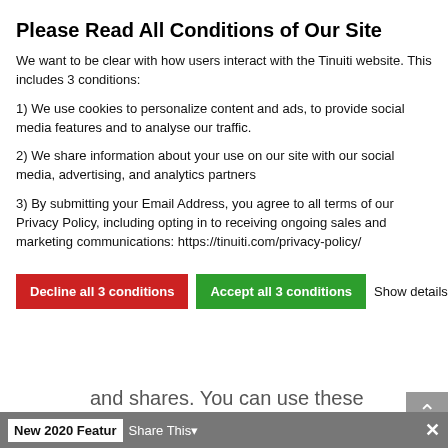Please Read All Conditions of Our Site
We want to be clear with how users interact with the Tinuiti website. This includes 3 conditions:
1) We use cookies to personalize content and ads, to provide social media features and to analyse our traffic.
2) We share information about your use on our site with our social media, advertising, and analytics partners
3) By submitting your Email Address, you agree to all terms of our Privacy Policy, including opting in to receiving ongoing sales and marketing communications: https://tinuiti.com/privacy-policy/
Decline all 3 conditions | Accept all 3 conditions | Show details
and shares. You can use these metrics to assess which items are the most popular and whether this popularity is translating into actual sales.
New 2020 Features for First | Share This | ×